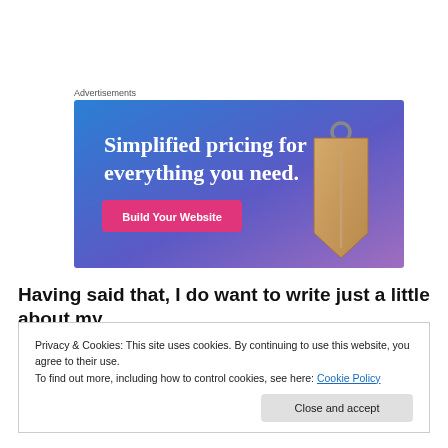Advertisements
[Figure (other): Advertisement banner with blue-to-purple gradient background. White serif text reads 'Simplified pricing for everything you need.' A pink button says 'Build Your Website'. A tan price tag hangs on the right side.]
Having said that, I do want to write just a little about my
Privacy & Cookies: This site uses cookies. By continuing to use this website, you agree to their use.
To find out more, including how to control cookies, see here: Cookie Policy
Close and accept